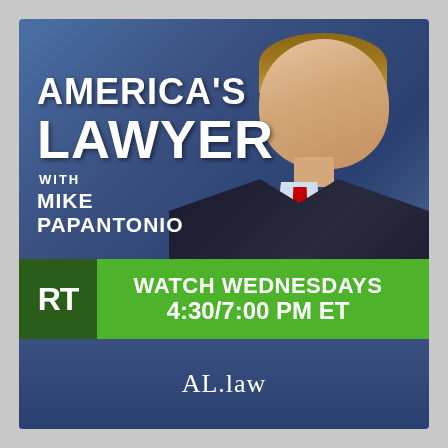[Figure (photo): Promotional graphic for 'America's Lawyer with Mike Papantonio' TV show. Blue background with a man in a dark suit, light blue shirt, and red striped tie smiling. RT network logo in green banner.]
AMERICA'S LAWYER
with MIKE PAPANTONIO
WATCH WEDNESDAYS 4:30/7:00 PM ET
AL.law